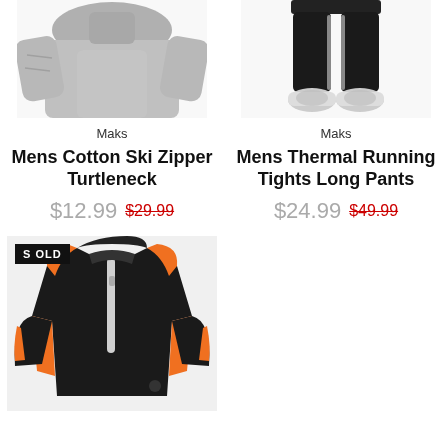[Figure (photo): Gray long-sleeve cotton turtleneck shirt on a person, cropped at chest level]
Maks
Mens Cotton Ski Zipper Turtleneck
$12.99  $29.99
[Figure (photo): Black thermal running tights/long pants on a person, shown from waist down with patterned sneakers]
Maks
Mens Thermal Running Tights Long Pants
$24.99  $49.99
[Figure (photo): Black and orange running jacket with a reflective zipper strip, shown laid flat. Has a SOLD badge overlay.]